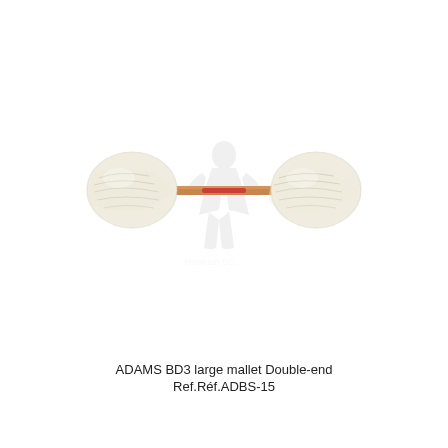[Figure (photo): A double-ended bass drum mallet (ADAMS BD3) with two large round cream/white wool felt heads on each end of a wooden dowel handle. The handle appears light brown/tan. A faint watermark of a figure is visible in the center background.]
ADAMS BD3 large mallet Double-end
Ref.Réf.ADBS-15